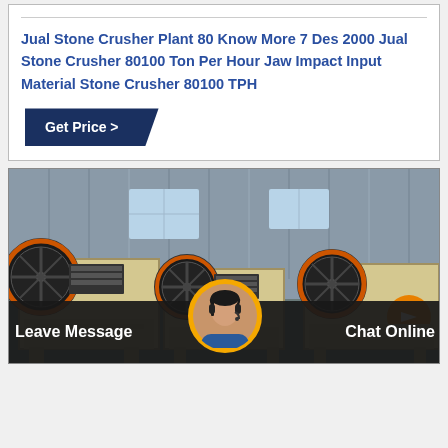Jual Stone Crusher Plant 80 Know More 7 Des 2000 Jual Stone Crusher 80100 Ton Per Hour Jaw Impact Input Material Stone Crusher 80100 TPH
Get Price >
[Figure (photo): Industrial jaw crusher machines in a factory/warehouse setting. Multiple large yellow and black jaw crusher units with flywheels visible, lined up in an industrial building with corrugated metal walls and windows.]
Leave Message
Chat Online